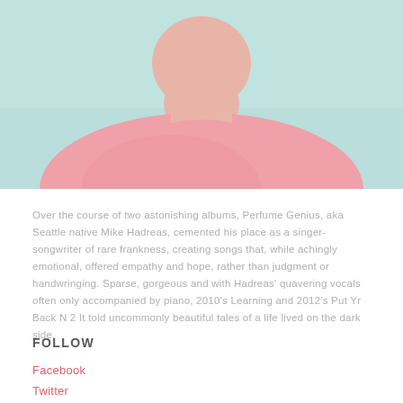[Figure (photo): Photo of a young man wearing a pink sweatshirt against a light teal/mint background, cropped to show neck and shoulders]
Over the course of two astonishing albums, Perfume Genius, aka Seattle native Mike Hadreas, cemented his place as a singer-songwriter of rare frankness, creating songs that, while achingly emotional, offered empathy and hope, rather than judgment or handwringing. Sparse, gorgeous and with Hadreas' quavering vocals often only accompanied by piano, 2010's Learning and 2012's Put Yr Back N 2 It told uncommonly beautiful tales of a life lived on the dark side.
FOLLOW
Facebook
Twitter